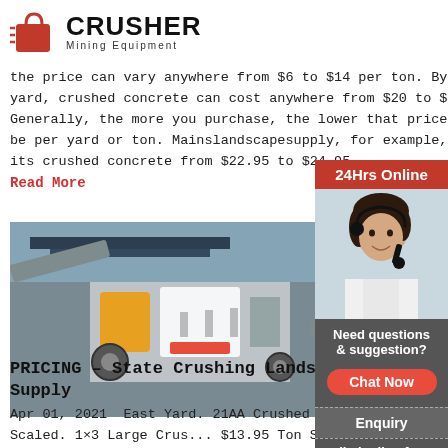[Figure (logo): Crusher Mining Equipment logo with red shopping bag icon and bold black CRUSHER text]
the price can vary anywhere from $6 to $14 per ton. By the yard, crushed concrete can cost anywhere from $20 to $30. Generally, the more you purchase, the lower that price will be per yard or ton. Mainslandscapesupply, for example, sells its crushed concrete from $22.95 to $24.95.
Read More
[Figure (photo): Industrial crusher/screening machine equipment in a facility]
PRICING – State Crushing Landscape Supply
Apr 01, 2021  East Yard. 21AA Crushed Concre... Ton Scaled. $10.85 Ton Scaled. 1×3 Large Crus... $13.95 Ton Scaled. $13.95 Ton Scaled. 6A Crus... (1/4" – 1
[Figure (photo): 24Hrs Online sidebar with woman wearing headset, chat now button, enquiry and email contact]
Need questions & suggestion?
Chat Now
Enquiry
limingjlmofen@sina.com